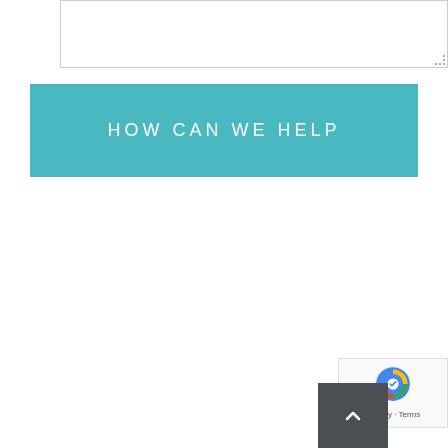[Figure (screenshot): Textarea input box with resize handle at bottom-right corner]
HOW CAN WE HELP
[Figure (screenshot): reCAPTCHA Privacy - Terms badge in bottom right corner]
[Figure (screenshot): Dark grey scroll-to-top button with upward chevron arrow]